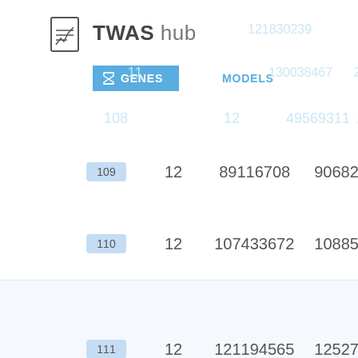TWAS hub
GENES  MODELS  TRAITS
| # | Chr | Start | End | Count |
| --- | --- | --- | --- | --- |
| 108 | 12 | 49569311 | 50991370 | 1 |
| 109 | 12 | 89116708 | 90682621 | 2 |
| 110 | 12 | 107433672 | 108852590 | 2 |
| 111 | 12 | 121194565 | 125270773 | 21 |